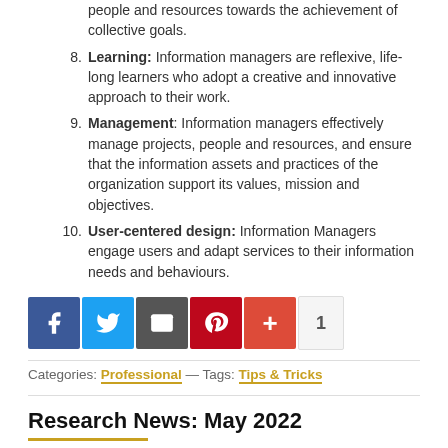people and resources towards the achievement of collective goals.
Learning: Information managers are reflexive, life-long learners who adopt a creative and innovative approach to their work.
Management: Information managers effectively manage projects, people and resources, and ensure that the information assets and practices of the organization support its values, mission and objectives.
User-centered design: Information Managers engage users and adapt services to their information needs and behaviours.
[Figure (infographic): Social sharing buttons: Facebook (blue), Twitter (light blue), Email (dark gray), Pinterest (red), Google+ (orange-red), and a count of 1]
Categories: Professional — Tags: Tips & Tricks
Research News: May 2022